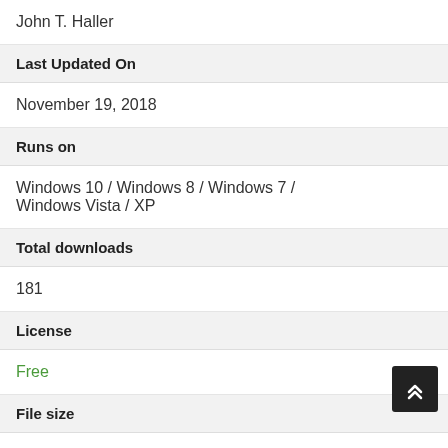John T. Haller
Last Updated On
November 19, 2018
Runs on
Windows 10 / Windows 8 / Windows 7 / Windows Vista / XP
Total downloads
181
License
Free
File size
4.6 MB
Filename